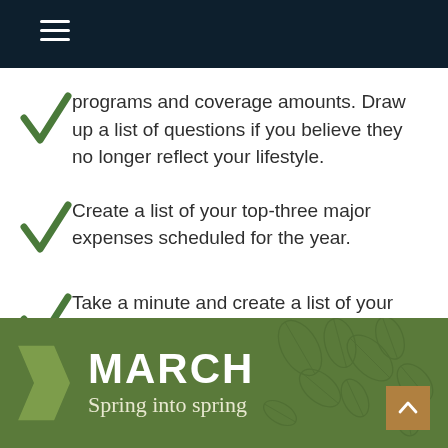programs and coverage amounts. Draw up a list of questions if you believe they no longer reflect your lifestyle.
Create a list of your top-three major expenses scheduled for the year.
Take a minute and create a list of your monthly subscription services.
[Figure (infographic): Green banner footer with MARCH heading and 'Spring into spring' subtitle, decorative leaf background, arrow shape on left, and up-arrow button on right.]